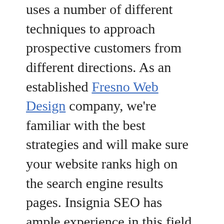uses a number of different techniques to approach prospective customers from different directions. As an established Fresno Web Design company, we're familiar with the best strategies and will make sure your website ranks high on the search engine results pages. Insignia SEO has ample experience in this field so we'll make sure you don't fall behind the competition.

Modern digital marketing campaigns are incomplete without SEO. This